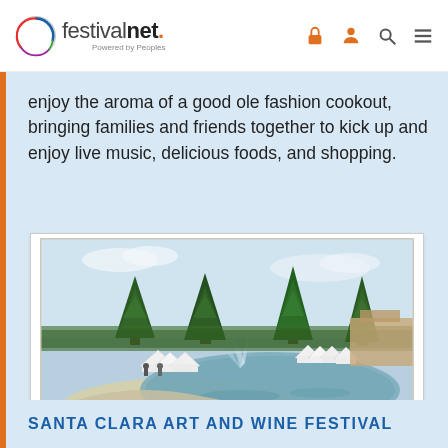festivalnet. Powered by Peoples
enjoy the aroma of a good ole fashion cookout, bringing families and friends together to kick up and enjoy live music, delicious foods, and shopping.
[Figure (photo): Outdoor festival scene with white vendor tents arranged around a reflective pond or fountain, surrounded by tall pine trees and greenery under a partly cloudy sky.]
SANTA CLARA ART AND WINE FESTIVAL